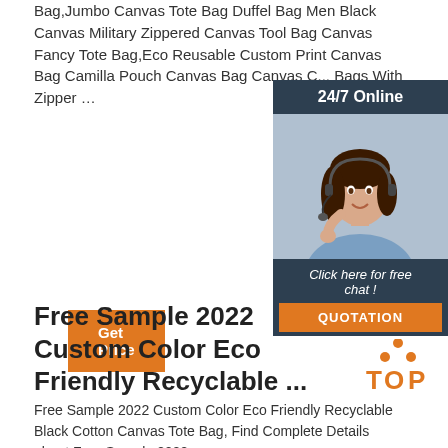Bag,Jumbo Canvas Tote Bag Duffel Bag Men Black Canvas Military Zippered Canvas Tool Bag Canvas Fancy Tote Bag,Eco Reusable Custom Print Canvas Bag Camilla Pouch Canvas Bag Canvas C... Bags With Zipper …
Get Price
[Figure (infographic): Customer service chat widget with '24/7 Online' header, photo of a woman with headset, 'Click here for free chat!' text, and QUOTATION button]
Free Sample 2022 Custom Color Eco Friendly Recyclable ...
Free Sample 2022 Custom Color Eco Friendly Recyclable Black Cotton Canvas Tote Bag, Find Complete Details about Free Sample 2022
[Figure (logo): TOP logo with orange dots forming a triangle above the word TOP]